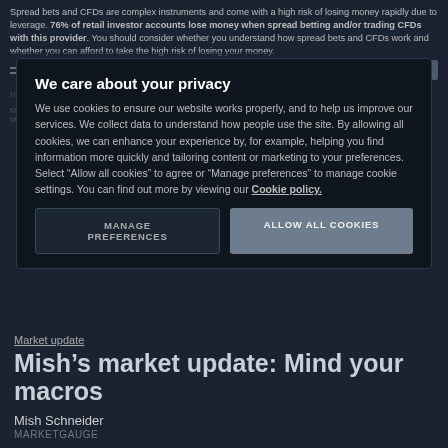Spread bets and CFDs are complex instruments and come with a high risk of losing money rapidly due to leverage. 76% of retail investor accounts lose money when spread betting and/or trading CFDs with this provider. You should consider whether you understand how spread bets and CFDs work and whether you can afford to take the high risk of losing your money.
We care about your privacy
We use cookies to ensure our website works properly, and to help us improve our services. We collect data to understand how people use the site. By allowing all cookies, we can enhance your experience by, for example, helping you find information more quickly and tailoring content or marketing to your preferences. Select “Allow all cookies” to agree or “Manage preferences” to manage cookie settings. You can find out more by viewing our Cookie policy.
MANAGE PREFERENCES
ALLOW ALL COOKIES
Market update
Mish’s market update: Mind your macros
Mish Schneider
MARKETGAUGE